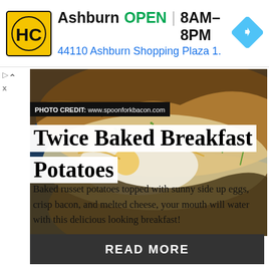[Figure (infographic): Ad banner with HC logo, Ashburn store info: OPEN 8AM-8PM, 44110 Ashburn Shopping Plaza 1., navigation icon]
[Figure (photo): Close-up photo of twice baked breakfast potatoes topped with sunny side up eggs, melted cheese and chives, on a dark blue background. Photo credit: www.spoonforkbacon.com]
Twice Baked Breakfast Potatoes
Baked russet potatoes topped with sunny side up eggs, crisp bacon, and melted cheese, your mouth will water with this delicious looking breakfast!
[Figure (other): READ MORE button (dark grey rectangle with white bold text)]